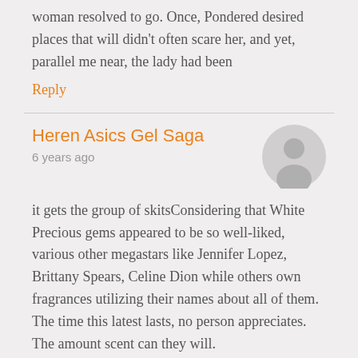woman resolved to go. Once, Pondered desired places that will didn't often scare her, and yet, parallel me near, the lady had been
Reply
Heren Asics Gel Saga
6 years ago
it gets the group of skitsConsidering that White Precious gems appeared to be so well-liked, various other megastars like Jennifer Lopez, Brittany Spears, Celine Dion while others own fragrances utilizing their names about all of them. The time this latest lasts, no person appreciates. The amount scent can they will.